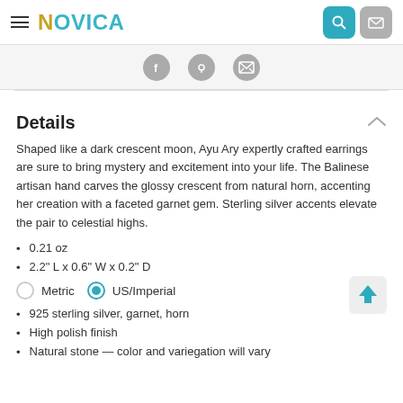NOVICA
[Figure (other): Social share icons: Facebook, Pinterest, email]
Details
Shaped like a dark crescent moon, Ayu Ary expertly crafted earrings are sure to bring mystery and excitement into your life. The Balinese artisan hand carves the glossy crescent from natural horn, accenting her creation with a faceted garnet gem. Sterling silver accents elevate the pair to celestial highs.
0.21 oz
2.2" L x 0.6" W x 0.2" D
Metric  US/Imperial
925 sterling silver, garnet, horn
High polish finish
Natural stone — color and variegation will vary